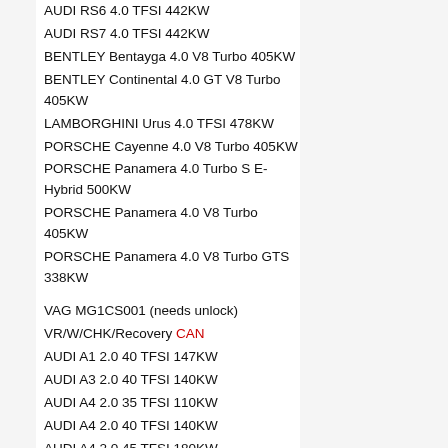AUDI RS6 4.0 TFSI 442KW
AUDI RS7 4.0 TFSI 442KW
BENTLEY Bentayga 4.0 V8 Turbo 405KW
BENTLEY Continental 4.0 GT V8 Turbo 405KW
LAMBORGHINI Urus 4.0 TFSI 478KW
PORSCHE Cayenne 4.0 V8 Turbo 405KW
PORSCHE Panamera 4.0 Turbo S E-Hybrid 500KW
PORSCHE Panamera 4.0 V8 Turbo 405KW
PORSCHE Panamera 4.0 V8 Turbo GTS 338KW
VAG MG1CS001 (needs unlock)
VR/W/CHK/Recovery CAN
AUDI A1 2.0 40 TFSI 147KW
AUDI A3 2.0 40 TFSI 140KW
AUDI A4 2.0 35 TFSI 110KW
AUDI A4 2.0 40 TFSI 140KW
AUDI A4 2.0 45 TFSI 180KW
AUDI A5 2.0 40 TFSI 140KW
AUDI A5 2.0 45 TFSI 180KW
AUDI A6 2.0 40 TFSI 185KW
AUDI A7 2.0 40 TFSI 185KW
AUDI Q2 2.0 40 TFSI 140KW